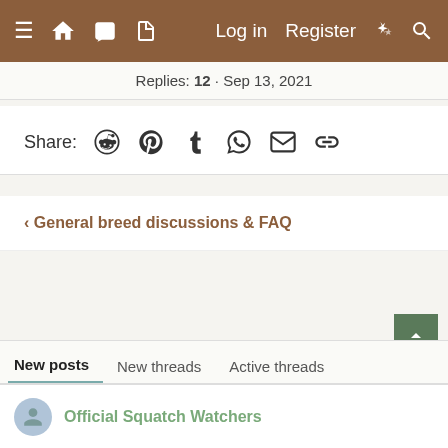≡ 🏠 💬 📄   Log in  Register  ⚡ 🔍
Replies: 12 · Sep 13, 2021
Share: (reddit) (pinterest) (tumblr) (whatsapp) (email) (link)
< General breed discussions & FAQ
[Figure (other): Green scroll-up button with upward arrow]
[Figure (other): Green scroll-down button with downward arrow]
New posts  New threads  Active threads
Official Squatch Watchers